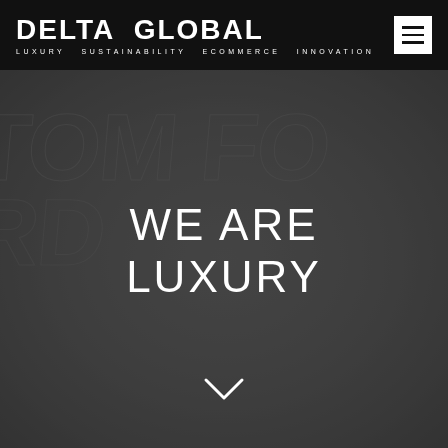DELTA GLOBAL — LUXURY SUSTAINABILITY ECOMMERCE INNOVATION
[Figure (screenshot): Hero background image showing embossed TOM FORD text on dark grey surface]
WE ARE LUXURY